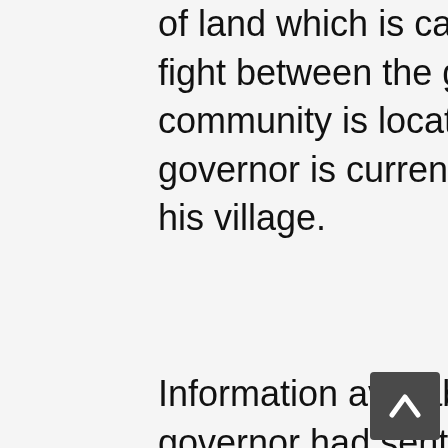community. And the large portion of land which is causing the suppremacy fight between the governor and the community is located just behind where the governor is currently building his bungalow in his village.
Information available have it that the governor had sent some